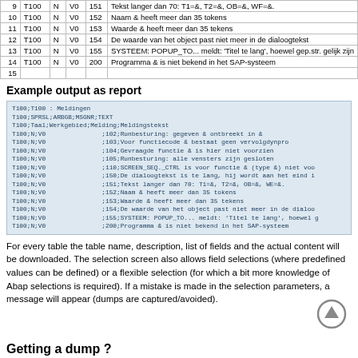|  |  |  |  |  |  |
| --- | --- | --- | --- | --- | --- |
| 9 | T100 | N | V0 | 151 | Tekst langer dan 70: T1=&, T2=&, OB=&, WF=&. |
| 10 | T100 | N | V0 | 152 | Naam & heeft meer dan 35 tokens |
| 11 | T100 | N | V0 | 153 | Waarde & heeft meer dan 35 tekens |
| 12 | T100 | N | V0 | 154 | De waarde van het object past niet meer in de dialoogtekst |
| 13 | T100 | N | V0 | 155 | SYSTEEM: POPUP_TO... meldt: 'Titel te lang', hoewel gep.str. gelijk zijn |
| 14 | T100 | N | V0 | 200 | Programma & is niet bekend in het SAP-systeem |
| 15 |  |  |  |  |  |
Example output as report
[Figure (screenshot): Code/report output block showing T100 table data in semicolon-separated format: T100;T100 : Meldingen, T100;SPRSL;ARBGB;MSGNR;TEXT, T100;Taal;Werkgebied;Melding;Meldingstekst, followed by multiple T100;N;V0 rows with message numbers and Dutch text descriptions.]
For every table the table name, description, list of fields and the actual content will be downloaded. The selection screen also allows field selections (where predefined values can be defined) or a flexible selection (for which a bit more knowledge of Abap selections is required). If a mistake is made in the selection parameters, a message will appear (dumps are captured/avoided).
Getting a dump ?